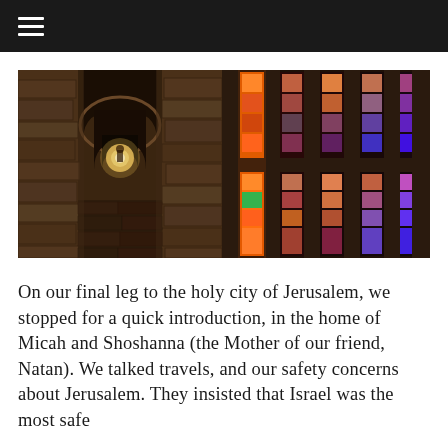≡
[Figure (photo): Two side-by-side photos: left shows a stone tunnel/corridor with an arched passageway and a figure silhouetted in the light at the end; right shows colorful illuminated stained glass windows in orange, red, purple, blue, and teal set in stone walls.]
On our final leg to the holy city of Jerusalem, we stopped for a quick introduction, in the home of Micah and Shoshanna (the Mother of our friend, Natan).  We talked travels, and our safety concerns about Jerusalem.  They insisted that Israel was the most safe